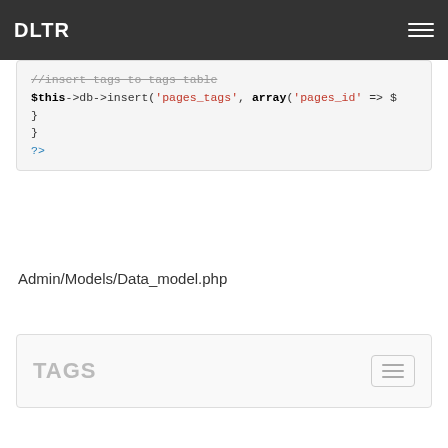DLTR
[Figure (screenshot): Code snippet showing PHP code: //insert tags to tags table, $this->db->insert('pages_tags', array('pages_id' => $..., }, }, ?>]
Admin/Models/Data_model.php
More»
TAGS